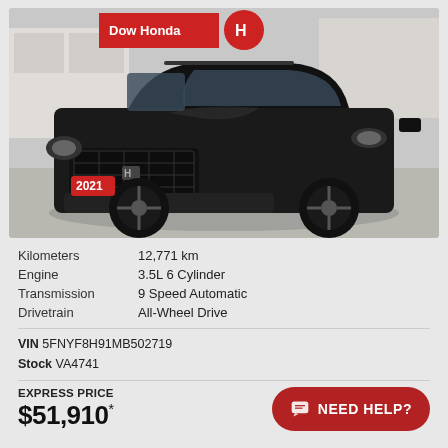[Figure (photo): Black 2021 Honda Passport SUV parked in front of Dow Honda dealership. A red sticker on the front bumper shows '2021'.]
|  |  |
| --- | --- |
| Kilometers | 12,771 km |
| Engine | 3.5L 6 Cylinder |
| Transmission | 9 Speed Automatic |
| Drivetrain | All-Wheel Drive |
VIN 5FNYF8H91MB502719
Stock VA4741
EXPRESS PRICE
$51,910*
NEED HELP?